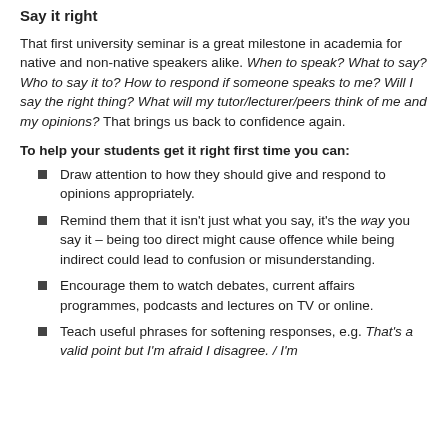Say it right
That first university seminar is a great milestone in academia for native and non-native speakers alike. When to speak? What to say? Who to say it to? How to respond if someone speaks to me? Will I say the right thing? What will my tutor/lecturer/peers think of me and my opinions? That brings us back to confidence again.
To help your students get it right first time you can:
Draw attention to how they should give and respond to opinions appropriately.
Remind them that it isn't just what you say, it's the way you say it – being too direct might cause offence while being indirect could lead to confusion or misunderstanding.
Encourage them to watch debates, current affairs programmes, podcasts and lectures on TV or online.
Teach useful phrases for softening responses, e.g. That's a valid point but I'm afraid I disagree. / I'm